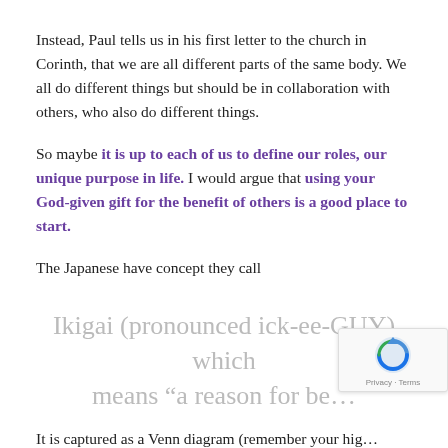Instead, Paul tells us in his first letter to the church in Corinth, that we are all different parts of the same body. We all do different things but should be in collaboration with others, who also do different things.
So maybe it is up to each of us to define our roles, our unique purpose in life. I would argue that using your God-given gift for the benefit of others is a good place to start.
The Japanese have concept they call
Ikigai (pronounced ick-ee-GUY) which means “a reason for be…
It is captured as a Venn diagram (remember your hig…